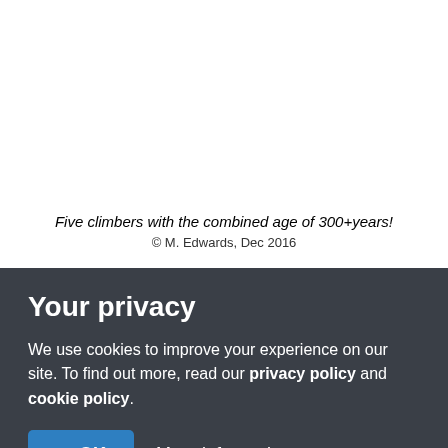Five climbers with the combined age of 300+years!
© M. Edwards, Dec 2016
Your privacy
We use cookies to improve your experience on our site. To find out more, read our privacy policy and cookie policy.
✓ OK   More information